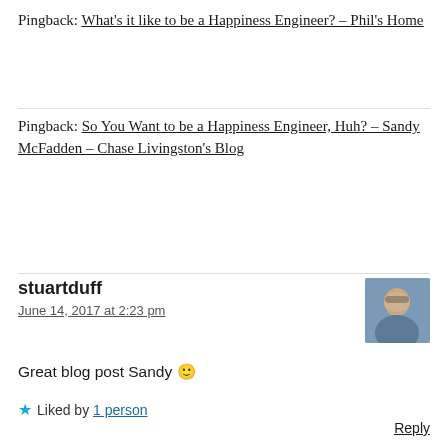Pingback: What's it like to be a Happiness Engineer? – Phil's Home
Pingback: So You Want to be a Happiness Engineer, Huh? – Sandy McFadden – Chase Livingston's Blog
stuartduff
June 14, 2017 at 2:23 pm
[Figure (photo): Avatar photo of stuartduff, person wearing sunglasses outdoors]
Great blog post Sandy 🙂
★ Liked by 1 person
Reply